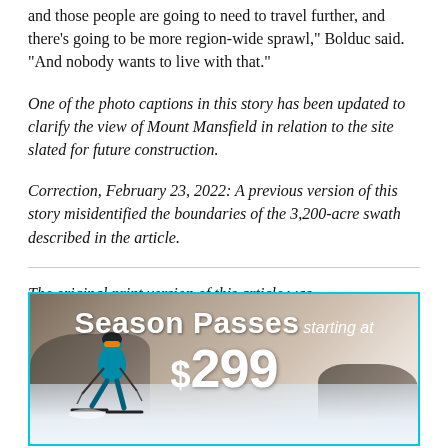and those people are going to need to travel further, and there's going to be more region-wide sprawl," Bolduc said. "And nobody wants to live with that."
One of the photo captions in this story has been updated to clarify the view of Mount Mansfield in relation to the site slated for future construction.
Correction, February 23, 2022: A previous version of this story misidentified the boundaries of the 3,200-acre swath described in the article.
The original print version of this article was
[Figure (photo): Advertisement banner for Season Passes starting at $299, showing a skier on a snowy slope with rocky terrain]